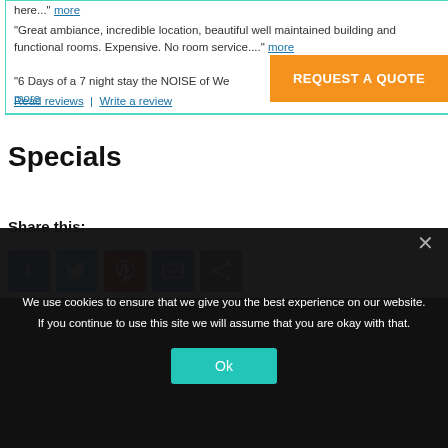here..." more
“Great ambiance, incredible location, beautiful well maintained building and functional rooms. Expensive. No room service...." more
“6 Days of a 7 night stay the NOISE of We... more
REQUEST A QUOTE
Read reviews | Write a review
Specials
Share this:
[Figure (infographic): Social share icons: Facebook (blue), Twitter (light blue), Pinterest (red), Email (blue), Share (gray)]
We use cookies to ensure that we give you the best experience on our website. If you continue to use this site we will assume that you are okay with that.
Ok